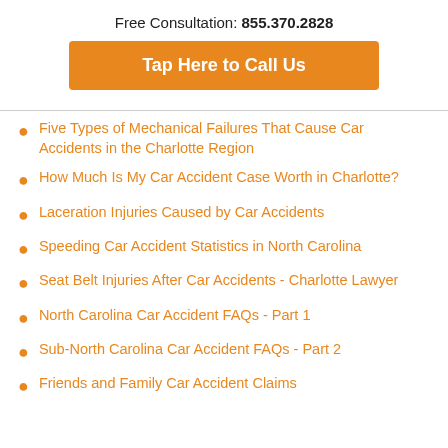Free Consultation: 855.370.2828
Tap Here to Call Us
Five Types of Mechanical Failures That Cause Car Accidents in the Charlotte Region
How Much Is My Car Accident Case Worth in Charlotte?
Laceration Injuries Caused by Car Accidents
Speeding Car Accident Statistics in North Carolina
Seat Belt Injuries After Car Accidents - Charlotte Lawyer
North Carolina Car Accident FAQs - Part 1
Sub-North Carolina Car Accident FAQs - Part 2
Friends and Family Car Accident Claims